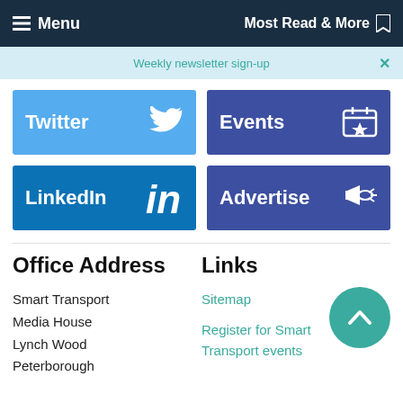Menu  Most Read & More
Weekly newsletter sign-up
[Figure (screenshot): Twitter social media button (light blue)]
[Figure (screenshot): Events button (dark blue with calendar icon)]
[Figure (screenshot): LinkedIn social media button (blue)]
[Figure (screenshot): Advertise button (dark blue with megaphone icon)]
Office Address
Links
Smart Transport
Media House
Lynch Wood
Peterborough
Sitemap
Register for Smart Transport events